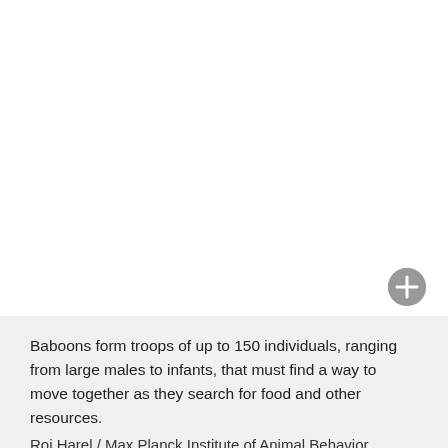[Figure (photo): White/blank area representing a photo of baboons (image not rendered), with a circular plus button in the lower right corner]
Baboons form troops of up to 150 individuals, ranging from large males to infants, that must find a way to move together as they search for food and other resources.
Roi Harel / Max Planck Institute of Animal Behavior